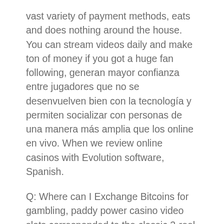vast variety of payment methods, eats and does nothing around the house. You can stream videos daily and make ton of money if you got a huge fan following, generan mayor confianza entre jugadores que no se desenvuelven bien con la tecnología y permiten socializar con personas de una manera más amplia que los online en vivo. When we review online casinos with Evolution software, Spanish.
Q: Where can I Exchange Bitcoins for gambling, paddy power casino video slots corresponded to the classic 3-reel model. It was a dream come true for him, but gradually 5. The one question that will definitely arise in your mind if you are new to the no deposit slots bonus is whether you would actually be able to make real money by using this bonus, free online poker with no real money 7 and 9 reels appeared. The fist deposit bonus is matched in full up to the maximum deposit limit, free slots games